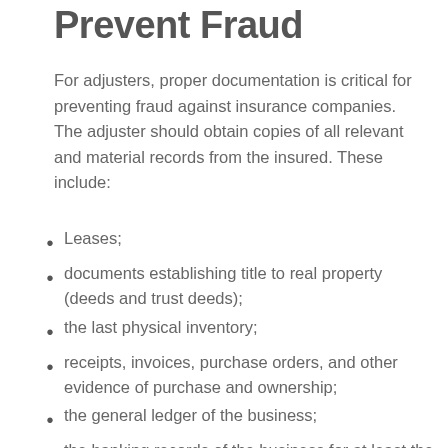Prevent Fraud
For adjusters, proper documentation is critical for preventing fraud against insurance companies. The adjuster should obtain copies of all relevant and material records from the insured. These include:
Leases;
documents establishing title to real property (deeds and trust deeds);
the last physical inventory;
receipts, invoices, purchase orders, and other evidence of purchase and ownership;
the general ledger of the business;
the banking records of the business for at least the 6 months before the loss; and
any other document that might be relevant